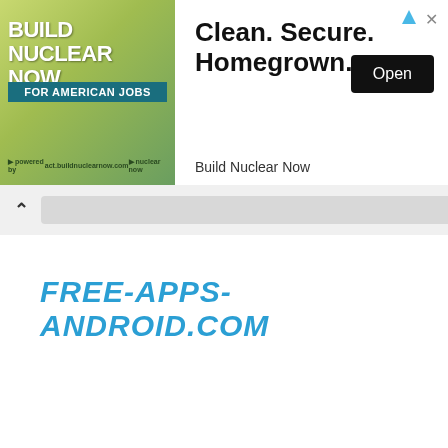[Figure (infographic): Advertisement banner: Left side shows 'BUILD NUCLEAR NOW FOR AMERICAN JOBS' with green/yellow background. Right side shows 'Clean. Secure. Homegrown.' headline with an 'Open' button and 'Build Nuclear Now' brand text. Ad icon and close X in top right.]
FREE-APPS-ANDROID.COM
FREE-APPS-ANDROID.COM